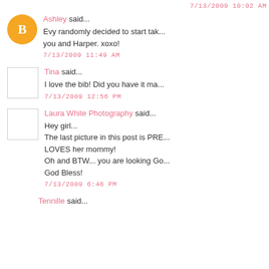7/13/2009 10:02 AM (truncated at top)
Ashley said... Evy randomly decided to start tak... you and Harper. xoxo!
7/13/2009 11:49 AM
Tina said... I love the bib! Did you have it ma...
7/13/2009 12:56 PM
Laura White Photography said... Hey girl... The last picture in this post is PRE... LOVES her mommy! Oh and BTW... you are looking Go... God Bless!
7/13/2009 6:46 PM
Tennille said...